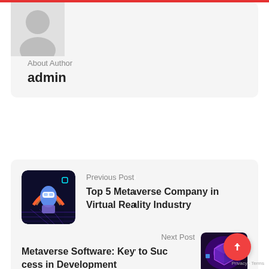[Figure (illustration): Gray placeholder avatar/silhouette icon on light gray background]
About Author
admin
Previous Post
[Figure (illustration): VR metaverse girl wearing white VR headset with colorful neon/retrowave background]
Top 5 Metaverse Company in Virtual Reality Industry
Next Post
Metaverse Software: Key to Success in Development